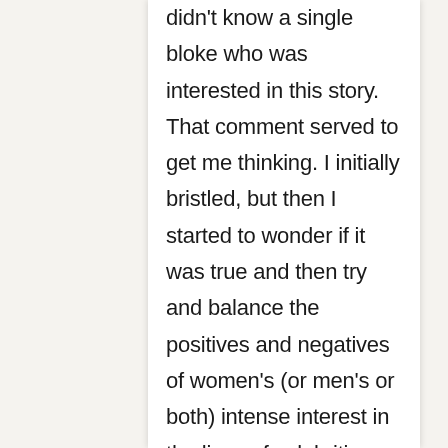didn't know a single bloke who was interested in this story. That comment served to get me thinking. I initially bristled, but then I started to wonder if it was true and then try and balance the positives and negatives of women's (or men's or both) intense interest in the lives of celebrities. There are many more reasons than I came up with  – and I did only have just over 700 words to get my point across! Yes, that's a defense 🙂